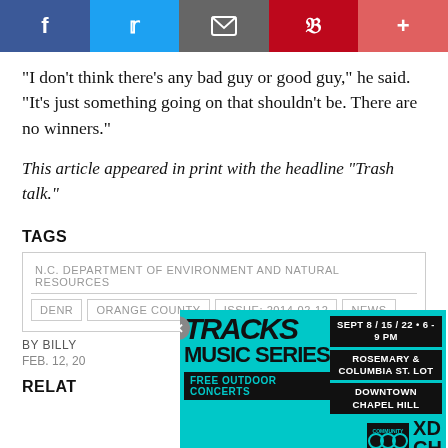[Figure (other): Social sharing bar with Facebook, Twitter, Email, Pinterest, and More buttons]
"I don't think there's any bad guy or good guy," he said. "It's just something going on that shouldn't be. There are no winners."
This article appeared in print with the headline "Trash talk."
TAGS
N.C. DEPARTMENT OF ENVIRONMENT AND NATURAL RESOURCES
DENR
ORANGE COUNTY
ISSUE: 2014-02-12
NEWS
BY BILLY [...]
FEB. 12, 20[...]
RELAT[ED]
[Figure (other): Advertisement for Tracks Music Series: Sept 8/15/22 6-9 PM, Rosemary & Columbia St. Lot, Downtown Chapel Hill, Free Outdoor Concerts, Community Arts & Culture, XDCH]